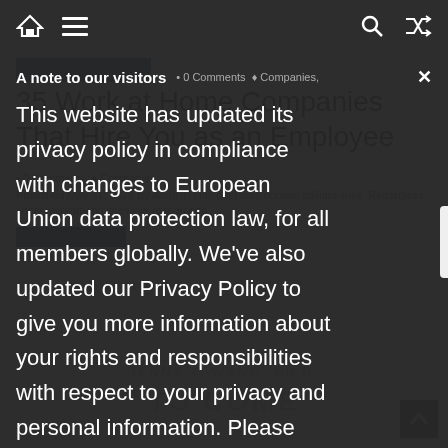Navigation bar with home, menu, search, and shuffle icons
35 Work at Home Companies That Hire You as an Employee
A note to our visitors
This website has updated its privacy policy in compliance with changes to European Union data protection law, for all members globally. We've also updated our Privacy Policy to give you more information about your rights and responsibilities with respect to your privacy and personal information. Please read this to review the updates about which cookies we use and what information we collect on our site. By continuing to use this site, you are agreeing to our updated privacy policy.
0 Comments   Companies,
Published May 31, 2022 By Anna T. This post may contain affiliate links. Regardless, I only recommend sites I've researched
JENNY T. WANG, Ph.D.
TO COME